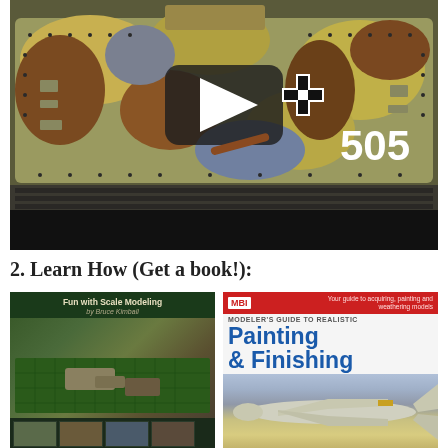[Figure (screenshot): YouTube video thumbnail/player showing a scale model tank (German WWII style with camouflage paint, iron cross marking, and number 505) with a play button overlay. Below the tank image is a black video control bar.]
2. Learn How (Get a book!):
[Figure (photo): Two scale modeling books side by side. Left: 'Fun with Scale Modeling' by Bruce Kimball, dark green cover showing model tanks on a cutting mat with small thumbnail images at bottom. Right: MBI Modeler's Guide to Realistic 'Painting & Finishing' with blue title text, red MBI header banner, and image of a model aircraft.]